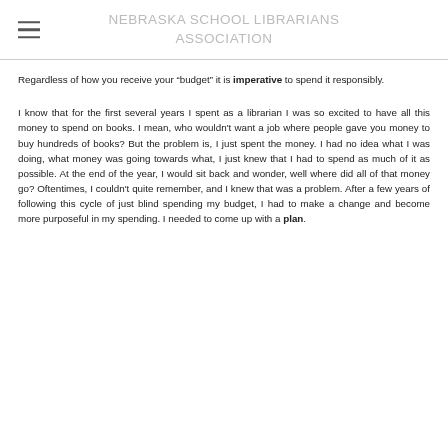NEBRASKA SCHOOL LIBRARIANS ASSOCIATION
Regardless of how you receive your “budget” it is imperative to spend it responsibly.
I know that for the first several years I spent as a librarian I was so excited to have all this money to spend on books. I mean, who wouldn't want a job where people gave you money to buy hundreds of books? But the problem is, I just spent the money. I had no idea what I was doing, what money was going towards what, I just knew that I had to spend as much of it as possible. At the end of the year, I would sit back and wonder, well where did all of that money go? Oftentimes, I couldn't quite remember, and I knew that was a problem. After a few years of following this cycle of just blind spending my budget, I had to make a change and become more purposeful in my spending. I needed to come up with a plan.